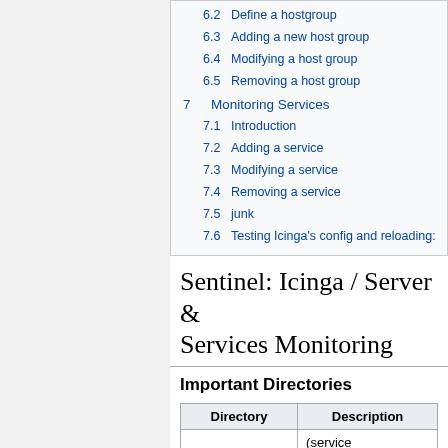6.2 Define a hostgroup
6.3 Adding a new host group
6.4 Modifying a host group
6.5 Removing a host group
7 Monitoring Services
7.1 Introduction
7.2 Adding a service
7.3 Modifying a service
7.4 Removing a service
7.5 junk
7.6 Testing Icinga's config and reloading:
Sentinel: Icinga / Server & Services Monitoring
Important Directories
| Directory | Description |
| --- | --- |
|  | (service |